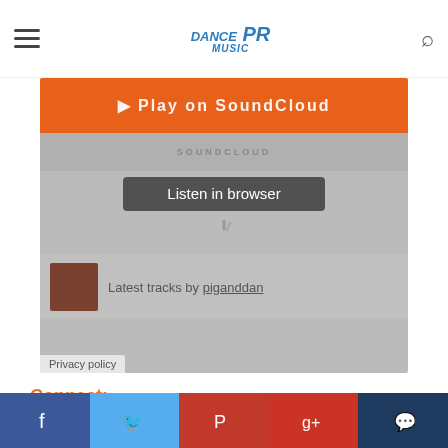Dance Music PR
[Figure (screenshot): SoundCloud embedded player with orange Play on SoundCloud bar, Listen in browser button, loading spinner, artist avatar and latest tracks by piganddan, Privacy policy link]
Connect:
www.piganddan.com
http://www.facebook.com/Pig.Dan.Cocoon
[wp_ad_camp_5]
[wp_ad_camp_4]
Social share bar: Facebook, Twitter, Pinterest, Google+, Comment